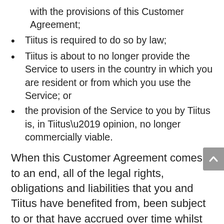with the provisions of this Customer Agreement;
Tiitus is required to do so by law;
Tiitus is about to no longer provide the Service to users in the country in which you are resident or from which you use the Service; or
the provision of the Service to you by Tiitus is, in Tiitus’ opinion, no longer commercially viable.
When this Customer Agreement comes to an end, all of the legal rights, obligations and liabilities that you and Tiitus have benefited from, been subject to or that have accrued over time whilst this Customer Agreement has been in force shall lapse. Rights and obligations which